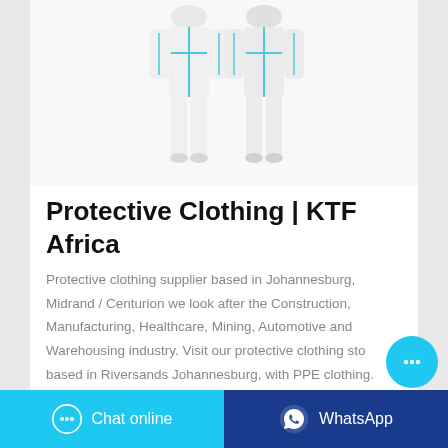[Figure (photo): Two white protective coverall suits with blue seam tape, shown front and back view on mannequins]
Protective Clothing | KTF Africa
Protective clothing supplier based in Johannesburg, Midrand / Centurion we look after the Construction, Manufacturing, Healthcare, Mining, Automotive and Warehousing industry. Visit our protective clothing store based in Riversands Johannesburg, with PPE clothing.